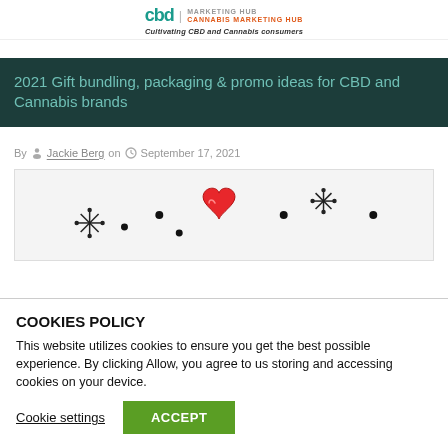CBD Marketing Hub | Cannabis Marketing Hub
Cultivating CBD and Cannabis consumers
2021 Gift bundling, packaging & promo ideas for CBD and Cannabis brands
By Jackie Berg on September 17, 2021
[Figure (illustration): Holiday themed illustration with snowflakes, dots, and a red heart on a light background]
COOKIES POLICY
This website utilizes cookies to ensure you get the best possible experience. By clicking Allow, you agree to us storing and accessing cookies on your device.
Cookie settings  ACCEPT